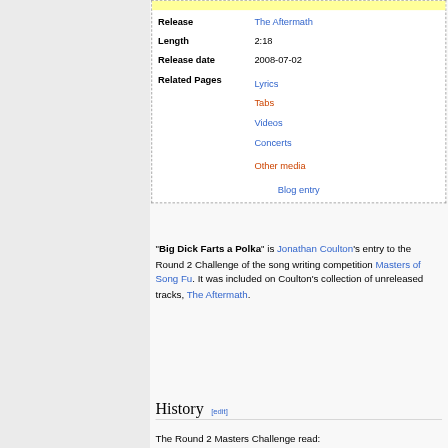| Release | The Aftermath |
| Length | 2:18 |
| Release date | 2008-07-02 |
| Related Pages | Lyrics
Tabs
Videos
Concerts
Other media |
|  | Blog entry |
"Big Dick Farts a Polka" is Jonathan Coulton's entry to the Round 2 Challenge of the song writing competition Masters of Song Fu. It was included on Coulton's collection of unreleased tracks, The Aftermath.
History [edit]
The Round 2 Masters Challenge read: